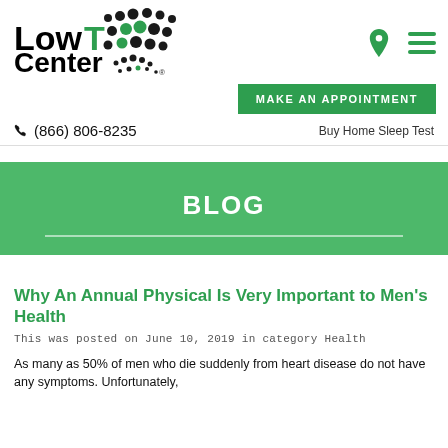Low T Center
(866) 806-8235
Buy Home Sleep Test
BLOG
Why An Annual Physical Is Very Important to Men's Health
This was posted on June 10, 2019 in category Health
As many as 50% of men who die suddenly from heart disease do not have any symptoms. Unfortunately,